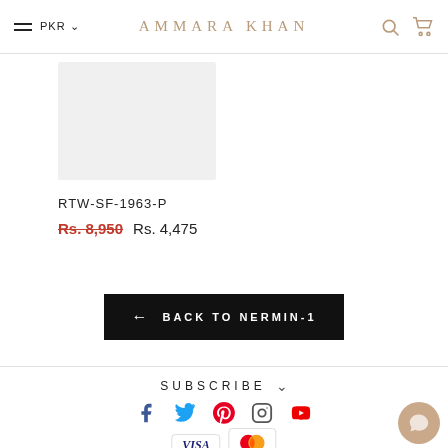AMMARA KHAN — PKR
[Figure (photo): Product image placeholder, light grey background]
RTW-SF-1963-P
Rs. 8,950  Rs. 4,475
← BACK TO NERMIN-1
SUBSCRIBE
[Figure (infographic): Social media icons: Facebook, Twitter, Pinterest, Instagram, YouTube]
[Figure (infographic): Payment method icons: VISA and Mastercard]